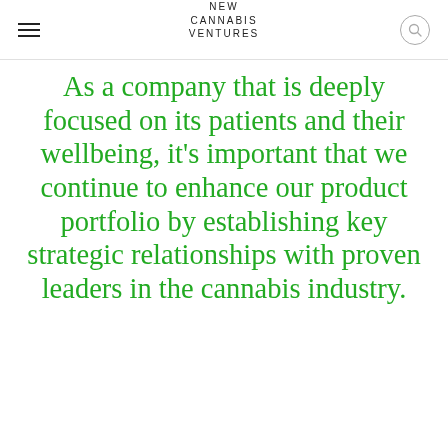NEW CANNABIS VENTURES
As a company that is deeply focused on its patients and their wellbeing, it’s important that we continue to enhance our product portfolio by establishing key strategic relationships with proven leaders in the cannabis industry.